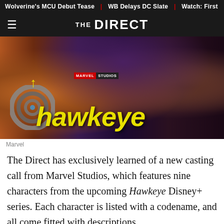Wolverine's MCU Debut Tease | WB Delays DC Slate | Watch: First
THE DIRECT
[Figure (photo): Hawkeye Marvel Studios Disney+ series promotional banner with characters and yellow title text 'hawkeye' with a target circle graphic]
Marvel
The Direct has exclusively learned of a new casting call from Marvel Studios, which features nine characters from the upcoming Hawkeye Disney+ series. Each character is listed with a codename, and all come fitted with descriptions.